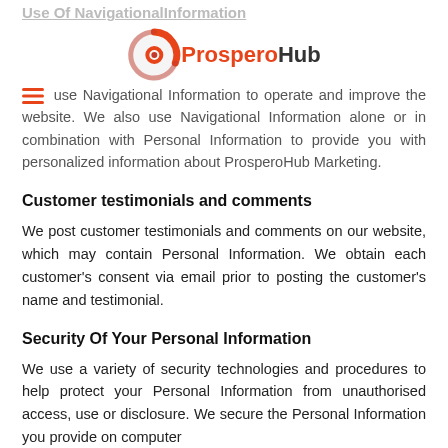Use Of NavigationalInformation
[Figure (logo): ProsperoHub logo with orange circular icon and text 'ProsperoHub' in red and dark grey]
We use Navigational Information to operate and improve the website. We also use Navigational Information alone or in combination with Personal Information to provide you with personalized information about ProsperoHub Marketing.
Customer testimonials and comments
We post customer testimonials and comments on our website, which may contain Personal Information. We obtain each customer's consent via email prior to posting the customer's name and testimonial.
Security Of Your Personal Information
We use a variety of security technologies and procedures to help protect your Personal Information from unauthorised access, use or disclosure. We secure the Personal Information you provide on computer